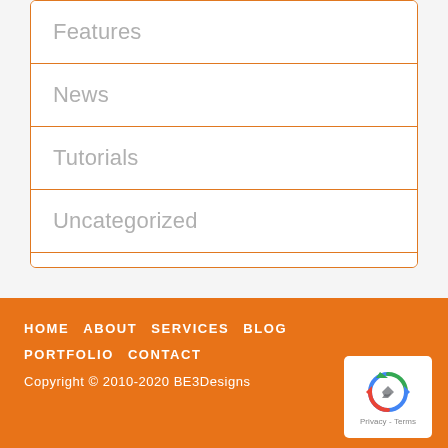Features
News
Tutorials
Uncategorized
Website Development
Work Life
HOME   ABOUT   SERVICES   BLOG   PORTFOLIO   CONTACT
Copyright © 2010-2020 BE3Designs